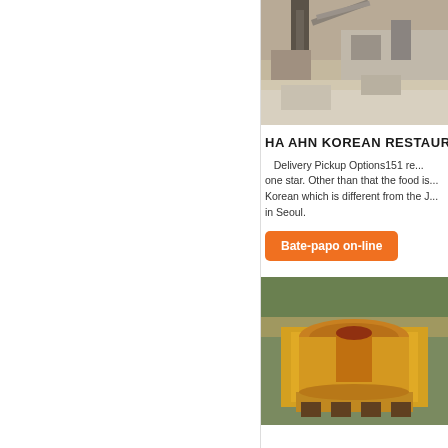[Figure (photo): Industrial quarry or mining facility with heavy machinery and conveyor belts, partially visible on the right side of the page.]
HA AHN KOREAN RESTAUR...
Delivery Pickup Options151 re... one star. Other than that the food is... Korean which is different from the J... in Seoul.
Bate-papo on-line
[Figure (photo): Yellow industrial cone crusher machinery photographed outdoors against a rocky/dirt background.]